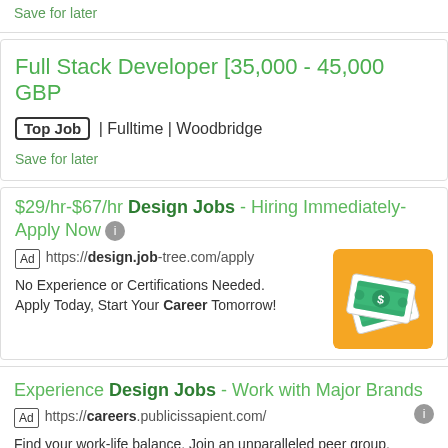Save for later
Full Stack Developer [35,000 - 45,000 GBP
Top Job | Fulltime | Woodbridge
Save for later
$29/hr-$67/hr Design Jobs - Hiring Immediately-Apply Now
Ad https://design.job-tree.com/apply
No Experience or Certifications Needed. Apply Today, Start Your Career Tomorrow!
[Figure (illustration): Orange background with two green dollar bill illustrations]
Experience Design Jobs - Work with Major Brands
Ad https://careers.publicissapient.com/
Find your work-life balance. Join an unparalleled peer group. Do your best design work. Bridge business strategy and applied.